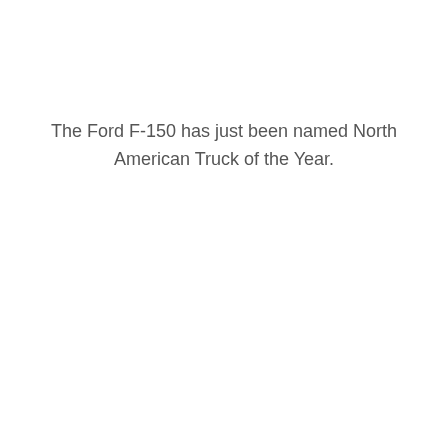The Ford F-150 has just been named North American Truck of the Year.